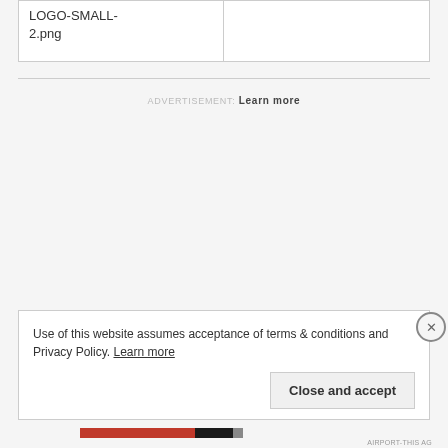[Figure (screenshot): Partial table showing a cell with text 'LOGO-SMALL-2.png' on the left, empty cell on the right]
ADVERTISEMENT: Learn more
Use of this website assumes acceptance of terms & conditions and Privacy Policy. Learn more
Close and accept
[Figure (other): Bottom navigation bar with red, black, and gray segments, with 'AIRPORT-THIS AG' text]